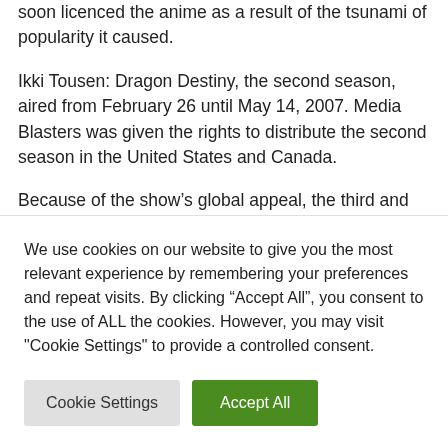soon licenced the anime as a result of the tsunami of popularity it caused.
Ikki Tousen: Dragon Destiny, the second season, aired from February 26 until May 14, 2007. Media Blasters was given the rights to distribute the second season in the United States and Canada.
Because of the show’s global appeal, the third and fourth seasons were also released with the
We use cookies on our website to give you the most relevant experience by remembering your preferences and repeat visits. By clicking “Accept All”, you consent to the use of ALL the cookies. However, you may visit "Cookie Settings" to provide a controlled consent.